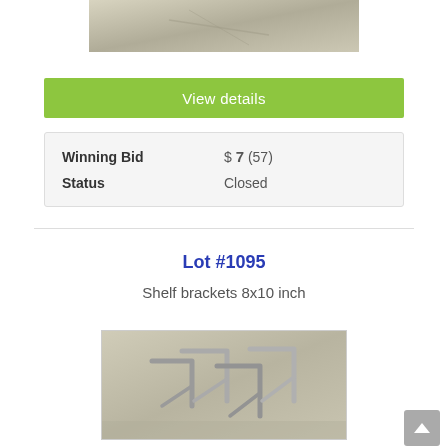[Figure (photo): Partial image of items at top of page (cut off)]
View details
| Winning Bid | $ 7 (57) |
| Status | Closed |
Lot #1095
Shelf brackets 8x10 inch
[Figure (photo): Photo of metal shelf brackets 8x10 inch piled together on a surface]